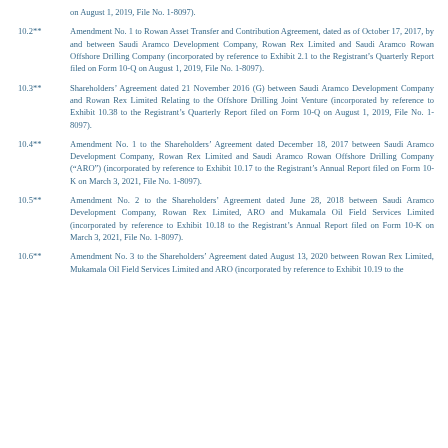on August 1, 2019, File No. 1-8097).
10.2**	Amendment No. 1 to Rowan Asset Transfer and Contribution Agreement, dated as of October 17, 2017, by and between Saudi Aramco Development Company, Rowan Rex Limited and Saudi Aramco Rowan Offshore Drilling Company (incorporated by reference to Exhibit 2.1 to the Registrant’s Quarterly Report filed on Form 10-Q on August 1, 2019, File No. 1-8097).
10.3**	Shareholders’ Agreement dated 21 November 2016 (G) between Saudi Aramco Development Company and Rowan Rex Limited Relating to the Offshore Drilling Joint Venture (incorporated by reference to Exhibit 10.38 to the Registrant’s Quarterly Report filed on Form 10-Q on August 1, 2019, File No. 1-8097).
10.4**	Amendment No. 1 to the Shareholders’ Agreement dated December 18, 2017 between Saudi Aramco Development Company, Rowan Rex Limited and Saudi Aramco Rowan Offshore Drilling Company (“ARO”) (incorporated by reference to Exhibit 10.17 to the Registrant’s Annual Report filed on Form 10-K on March 3, 2021, File No. 1-8097).
10.5**	Amendment No. 2 to the Shareholders’ Agreement dated June 28, 2018 between Saudi Aramco Development Company, Rowan Rex Limited, ARO and Mukamala Oil Field Services Limited (incorporated by reference to Exhibit 10.18 to the Registrant’s Annual Report filed on Form 10-K on March 3, 2021, File No. 1-8097).
10.6**	Amendment No. 3 to the Shareholders’ Agreement dated August 13, 2020 between Rowan Rex Limited, Mukamala Oil Field Services Limited and ARO (incorporated by reference to Exhibit 10.19 to the...